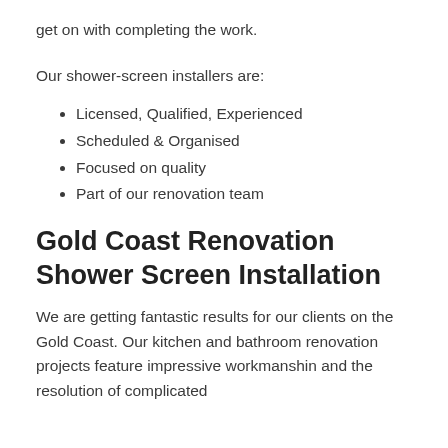get on with completing the work.
Our shower-screen installers are:
Licensed, Qualified, Experienced
Scheduled & Organised
Focused on quality
Part of our renovation team
Gold Coast Renovation Shower Screen Installation
We are getting fantastic results for our clients on the Gold Coast. Our kitchen and bathroom renovation projects feature impressive workmanshin and the resolution of complicated